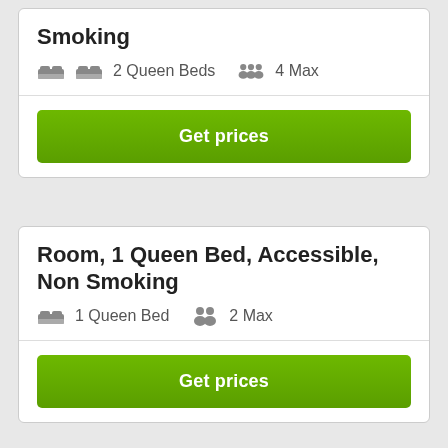Smoking
2 Queen Beds   4 Max
Get prices
Room, 1 Queen Bed, Accessible, Non Smoking
1 Queen Bed   2 Max
Get prices
Quality Inn ratings based on 48 Verified